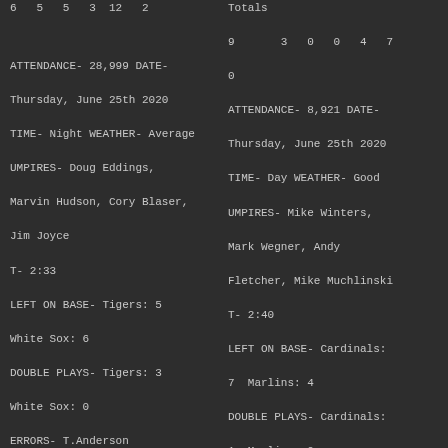6   5   5   3  12   2
ATTENDANCE- 28,999 DATE-
Thursday, June 25th 2020
TIME- Night WEATHER- Average
UMPIRES- Doug Eddings,
Marvin Hudson, Cory Blaser,
Jim Joyce
T- 2:33
LEFT ON BASE- Tigers: 5
White Sox: 6
DOUBLE PLAYS- Tigers: 3
White Sox: 0
ERRORS- T.Anderson
DOUBLES- T.Mancini(23rd),
P.Goldschmidt(13th),
T.Anderson(26th),
          C.Hernandez(21st)
HOME RUNS- A.Mondesi(13th),
R.Grichuk(19th),
Totals
9       3   0   0   4   7
0
ATTENDANCE- 8,921 DATE-
Thursday, June 25th 2020
TIME- Day WEATHER- Good
UMPIRES- Mike Winters,
Mark Wegner, Andy
Fletcher, Mike Muchlinski
T- 2:40
LEFT ON BASE- Cardinals:
7  Marlins: 4
DOUBLE PLAYS- Cardinals:
1  Marlins: 0
ERRORS- E.Escobar
DOUBLES- K.Wong(13th)
RBIs- S.Kingery(41st)
STOLEN BASES-
B.Anderson(3rd),